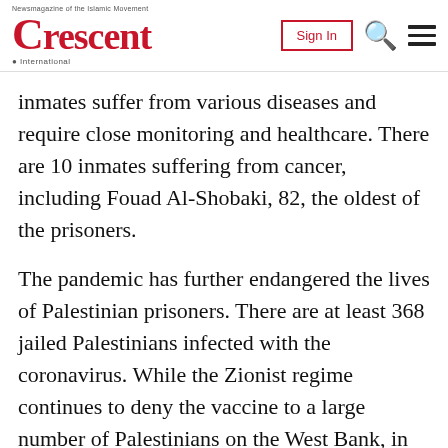Crescent International — Sign In
inmates suffer from various diseases and require close monitoring and healthcare. There are 10 inmates suffering from cancer, including Fouad Al-Shobaki, 82, the oldest of the prisoners.
The pandemic has further endangered the lives of Palestinian prisoners. There are at least 368 jailed Palestinians infected with the coronavirus. While the Zionist regime continues to deny the vaccine to a large number of Palestinians on the West Bank, in East Jerusalem and by blockading the Gaza Strip, the plight of Palestinian prisoners is worse, given the